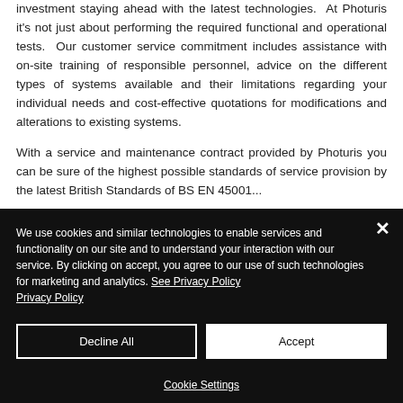investment staying ahead with the latest technologies. At Photuris it's not just about performing the required functional and operational tests. Our customer service commitment includes assistance with on-site training of responsible personnel, advice on the different types of systems available and their limitations regarding your individual needs and cost-effective quotations for modifications and alterations to existing systems.
With a service and maintenance contract provided by Photuris you can be sure of the highest possible standards of service provision by the latest British Standards of BS EN 45001...
We use cookies and similar technologies to enable services and functionality on our site and to understand your interaction with our service. By clicking on accept, you agree to our use of such technologies for marketing and analytics. See Privacy Policy